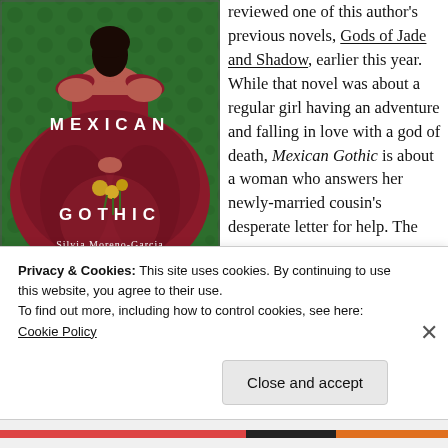[Figure (illustration): Book cover of 'Mexican Gothic' by Silvia Moreno-Garcia. Shows a woman in a large burgundy/maroon off-shoulder ball gown against a green floral wallpaper background, holding yellow flowers. Text reads 'MEXICAN GOTHIC' and 'Silvia Moreno-Garcia, Author of Gods of Jade and Shadow'.]
reviewed one of this author's previous novels, Gods of Jade and Shadow, earlier this year. While that novel was about a regular girl having an adventure and falling in love with a god of death, Mexican Gothic is about a woman who answers her newly-married cousin's desperate letter for help. The
Privacy & Cookies: This site uses cookies. By continuing to use this website, you agree to their use.
To find out more, including how to control cookies, see here: Cookie Policy